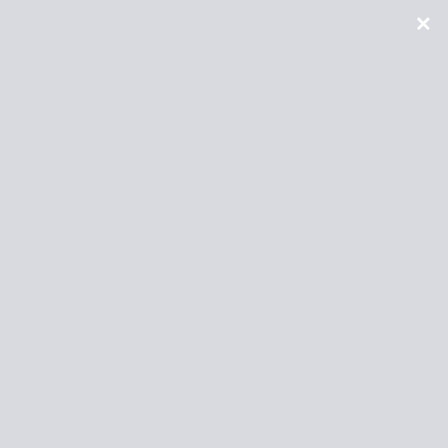Sign up for The Weekly Ink to receive book news and deals
Name
Email
SUBSCRIBE
home to believe and seeing him again, since he up on her doorstep insisting the danger is as high as ever. But whether she needs to be sheltered from the threat in her past, or from the intense emotions she feels for the sexy, protective man sleeping in her home, remains to be seen. What will happen if Brynna and her girls fall in love with a man so broken he may not be able to protect them from the